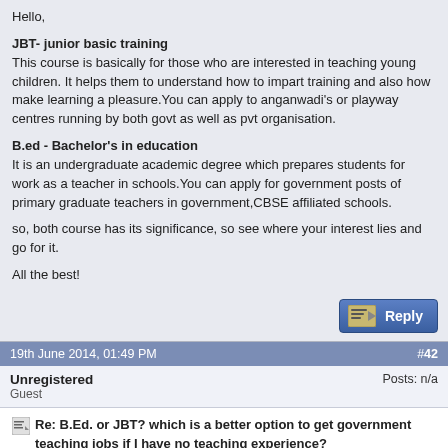Hello,

JBT- junior basic training
This course is basically for those who are interested in teaching young children. It helps them to understand how to impart training and also how make learning a pleasure.You can apply to anganwadi's or playway centres running by both govt as well as pvt organisation.

B.ed - Bachelor's in education
It is an undergraduate academic degree which prepares students for work as a teacher in schools.You can apply for government posts of primary graduate teachers in government,CBSE affiliated schools.

so, both course has its significance, so see where your interest lies and go for it.

All the best!
19th June 2014, 01:49 PM  #42
Unregistered
Guest
Posts: n/a
Re: B.Ed. or JBT? which is a better option to get government teaching jobs if I have no teaching experience?
a b.ed student can also apply for govt.job in primary school nd is ctet exam mandatory for getting govt. job nd how can we apply for govt. after doing this nd one last question is that please tell me no.of